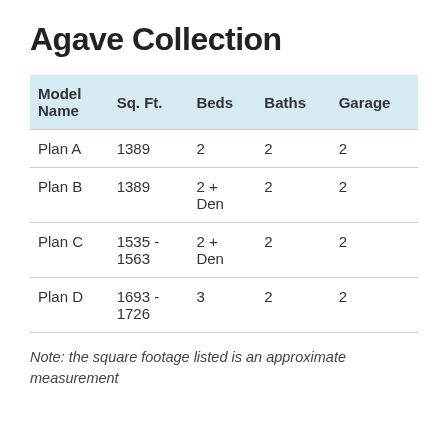Agave Collection
| Model Name | Sq. Ft. | Beds | Baths | Garage |
| --- | --- | --- | --- | --- |
| Plan A | 1389 | 2 | 2 | 2 |
| Plan B | 1389 | 2 + Den | 2 | 2 |
| Plan C | 1535 - 1563 | 2 + Den | 2 | 2 |
| Plan D | 1693 - 1726 | 3 | 2 | 2 |
Note: the square footage listed is an approximate measurement